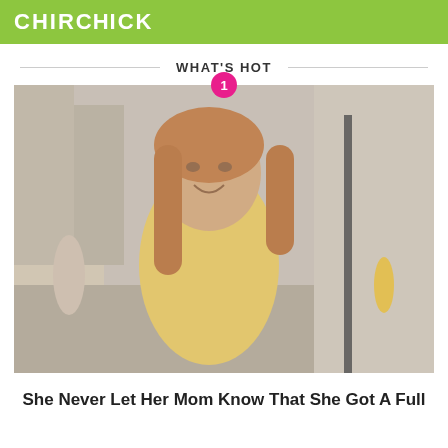CHIRCHICK
WHAT'S HOT
[Figure (photo): Young woman with long auburn hair wearing a yellow sleeveless top, smiling at the camera on a city street with blurred background. A pink circle badge with the number 1 appears at the top center of the image.]
She Never Let Her Mom Know That She Got A Full